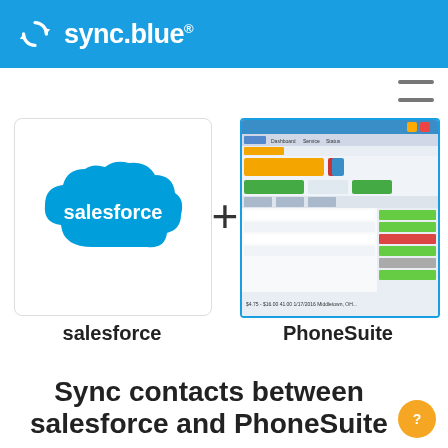sync.blue®
[Figure (logo): sync.blue logo with circular arrows icon and text 'sync.blue®' on blue header bar]
[Figure (screenshot): Salesforce cloud logo (white text on blue cloud shape) inside white bordered box]
[Figure (screenshot): PhoneSuite software screenshot showing call management interface with colored rows]
salesforce
PhoneSuite
Sync contacts between salesforce and PhoneSuite